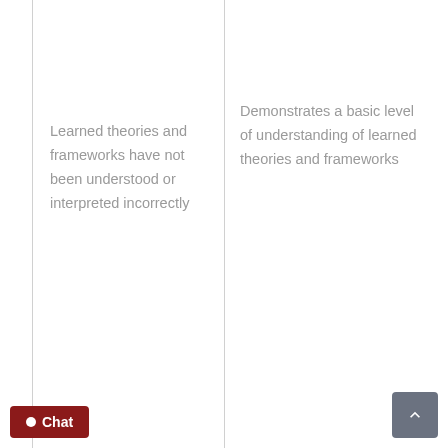Learned theories and frameworks have not been understood or interpreted incorrectly
Demonstrates a basic level of understanding of learned theories and frameworks